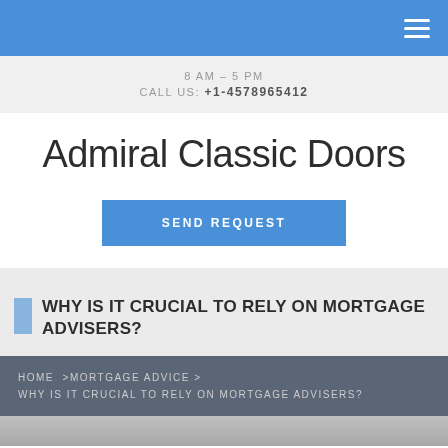8AM – 5PM
CALL US: +1-4578965412
Admiral Classic Doors
SEND REQUEST
WHY IS IT CRUCIAL TO RELY ON MORTGAGE ADVISERS?
HOME >MORTGAGE ADVICE > WHY IS IT CRUCIAL TO RELY ON MORTGAGE ADVISERS?
[Figure (photo): Partial image visible at the bottom of the page]